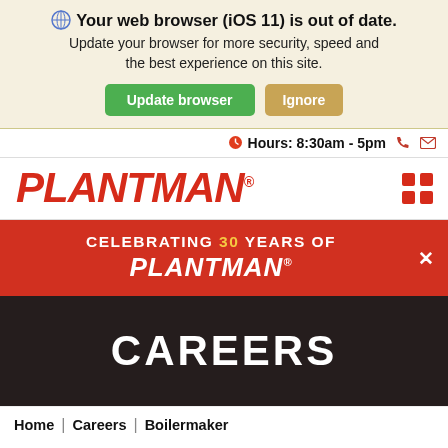Your web browser (iOS 11) is out of date. Update your browser for more security, speed and the best experience on this site.
Update browser  Ignore
Hours: 8:30am - 5pm
[Figure (logo): PLANTMAN logo in red italic bold font with registered trademark symbol]
[Figure (infographic): Red banner: CELEBRATING 30 YEARS OF PLANTMAN with close button]
CAREERS
Home | Careers | Boilermaker